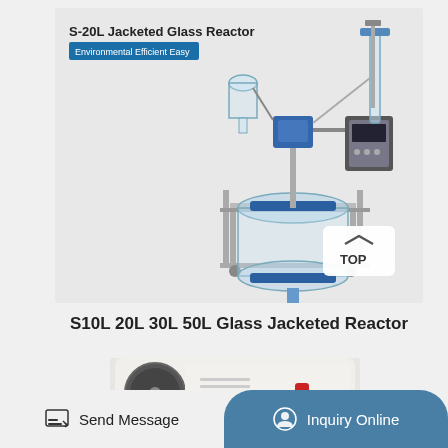[Figure (photo): S-20L Jacketed Glass Reactor product photo on light grey background. Labels read 'S-20L Jacketed Glass Reactor' and 'Environmental Efficient Easy' on a blue badge. A TOP navigation button is visible at bottom right of the image.]
S10L 20L 30L 50L Glass Jacketed Reactor
[Figure (photo): Partial photo of a second white lab equipment product (appears to be a drying or centrifuge unit) cropped at the bottom of the page.]
Send Message   Inquiry Online